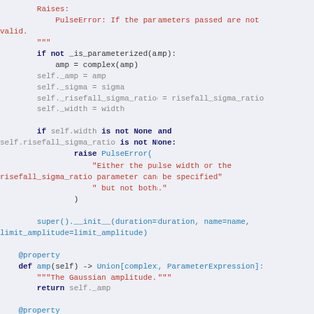Python source code showing a class constructor and property definitions for a Gaussian pulse, including error handling and parameter assignments.